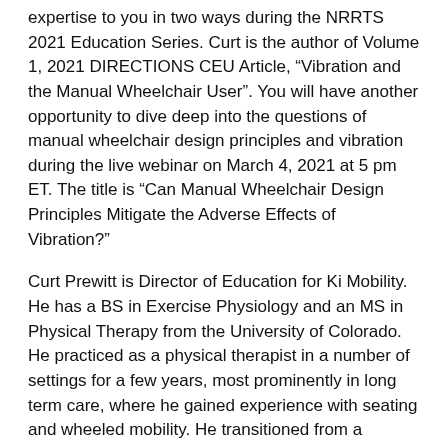expertise to you in two ways during the NRRTS 2021 Education Series. Curt is the author of Volume 1, 2021 DIRECTIONS CEU Article, “Vibration and the Manual Wheelchair User”. You will have another opportunity to dive deep into the questions of manual wheelchair design principles and vibration during the live webinar on March 4, 2021 at 5 pm ET. The title is “Can Manual Wheelchair Design Principles Mitigate the Adverse Effects of Vibration?”
Curt Prewitt is Director of Education for Ki Mobility. He has a BS in Exercise Physiology and an MS in Physical Therapy from the University of Colorado. He practiced as a physical therapist in a number of settings for a few years, most prominently in long term care, where he gained experience with seating and wheeled mobility. He transitioned from a practicing therapist to a manufacturer’s representative, eventually moving into sales management and focusing on complex rehab technology. Throughout his tenure on the manufacturer’s side in the complex rehab arena, he has dealt largely with pediatric